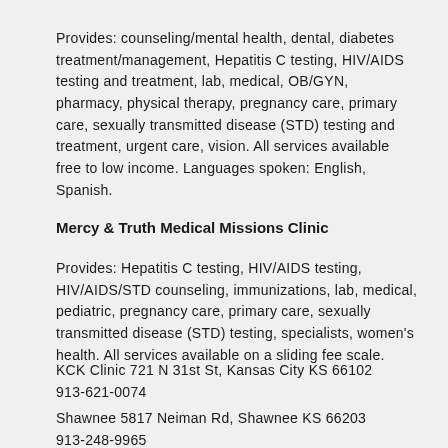Provides: counseling/mental health, dental, diabetes treatment/management, Hepatitis C testing, HIV/AIDS testing and treatment, lab, medical, OB/GYN, pharmacy, physical therapy, pregnancy care, primary care, sexually transmitted disease (STD) testing and treatment, urgent care, vision. All services available free to low income. Languages spoken: English, Spanish.
Mercy & Truth Medical Missions Clinic
Provides: Hepatitis C testing, HIV/AIDS testing, HIV/AIDS/STD counseling, immunizations, lab, medical, pediatric, pregnancy care, primary care, sexually transmitted disease (STD) testing, specialists, women's health. All services available on a sliding fee scale.
KCK Clinic 721 N 31st St, Kansas City KS 66102
913-621-0074
Shawnee 5817 Neiman Rd, Shawnee KS 66203
913-248-9965